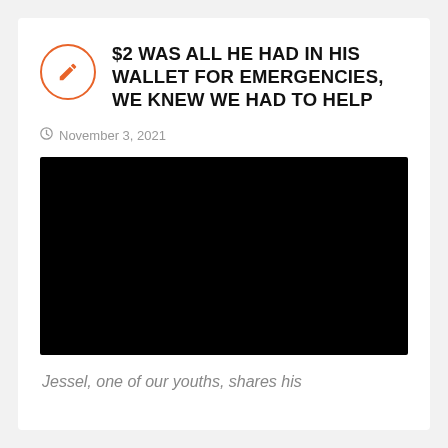$2 WAS ALL HE HAD IN HIS WALLET FOR EMERGENCIES, WE KNEW WE HAD TO HELP
November 3, 2021
[Figure (photo): Black/dark image, possibly a video thumbnail or redacted photo]
Jessel, one of our youths, shares his